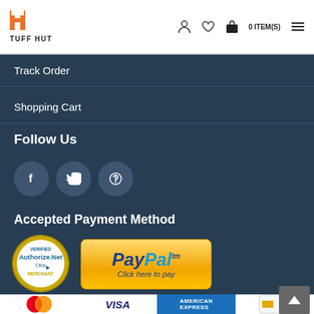TUFF HUT — 0 ITEM(S)
Track Order
Shopping Cart
Follow Us
[Figure (logo): Facebook, Twitter, Pinterest social media icons in dark circles]
Accepted Payment Method
[Figure (logo): Authorize.Net Verified Merchant badge and PayPal Click here to pay button]
[Figure (logo): Mastercard, Visa, American Express, and other credit card logos row]